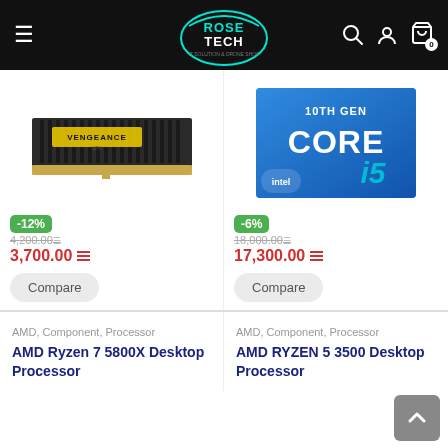[Figure (screenshot): RoseTech e-commerce website header with hamburger menu, logo, search, account, and cart icons on black background]
[Figure (photo): Corsair Vengeance LPX DDR4 RAM module, black heatspreader with yellow VENGEANCE logo]
-12%
4,200.00 [strikethrough]
3,700.00
Compare
[Figure (photo): Intel 10th Gen Core i5 processor box with blue background and white text]
-6%
18,000.00 [strikethrough]
17,300.00
Compare
AMD, Component, Processor
AMD Ryzen 7 5800X Desktop Processor
AMD, Component, Processor
AMD RYZEN 5 3500 Desktop Processor